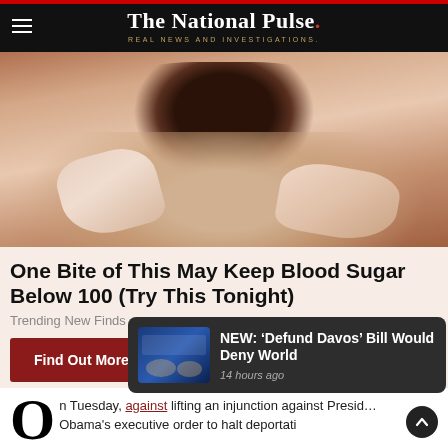The National Pulse. REAL NEWS AND INVESTIGATIONS.
[Figure (photo): Close-up of hands holding a dark food item (appears to be a date or similar food), used as advertisement image for blood sugar supplement]
One Bite of This May Keep Blood Sugar Below 100 (Try This Tonight)
Trending New Finds
Find Out More >
78,57278,573
[Figure (screenshot): Notification popup with thumbnail image of World Economic Forum scene, showing headline: NEW: 'Defund Davos' Bill Would Deny World, 14 hours ago]
NEW: ‘Defund Davos’ Bill Would Deny World
14 hours ago
On Tuesday, against lifting an injunction against President Obama's executive order to halt deportati